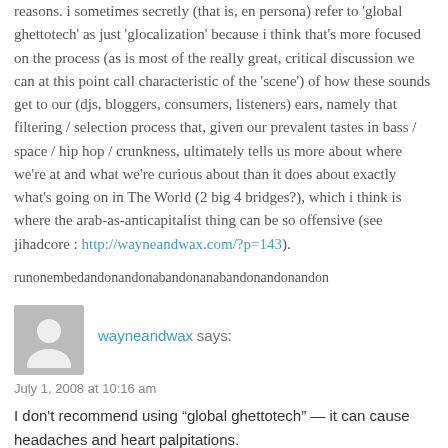reasons. i sometimes secretly (that is, en persona) refer to 'global ghettotech' as just 'glocalization' because i think that's more focused on the process (as is most of the really great, critical discussion we can at this point call characteristic of the 'scene') of how these sounds get to our (djs, bloggers, consumers, listeners) ears, namely that filtering / selection process that, given our prevalent tastes in bass / space / hip hop / crunkness, ultimately tells us more about where we're at and what we're curious about than it does about exactly what's going on in The World (2 big 4 bridges?), which i think is where the arab-as-anticapitalist thing can be so offensive (see jihadcore : http://wayneandwax.com/?p=143).
runonembedandonandonabandonanabandonandonandon
wayneandwax says:
July 1, 2008 at 10:16 am
I don't recommend using “global ghettotech” — it can cause headaches and heart palpitations.
I have to admit also that I’m not a fan of “glocal” — mainly b/c